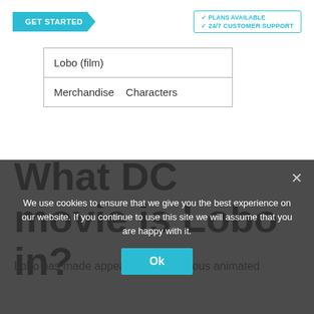[Figure (screenshot): Top navigation bar with a cyan 'GET STARTED' arrow button on the left and a cyan-bordered box on the right showing '24/7 CUSTOMER SUPPORT' with a checkmark]
| Lobo (film) |
| Merchandise   Characters |
What DC movie is Lobo in?
Lobo has made appearances in various animated DC programs, including Superman: The Animated Series and Young Justice. A live-action version of the character appeared in the second season of the Superman prequel series Krypton with Emmett J. Scanlan in the role.
We use cookies to ensure that we give you the best experience on our website. If you continue to use this site we will assume that you are happy with it.